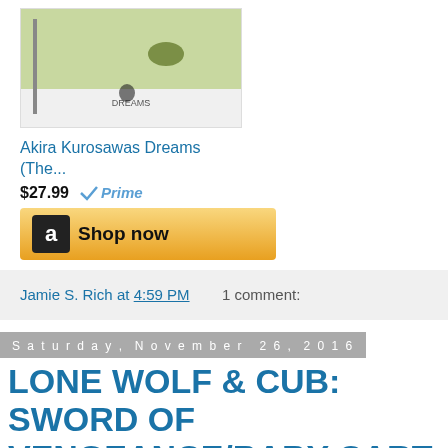[Figure (screenshot): Amazon product listing image for Akira Kurosawa's Dreams DVD with Dreams logo]
Akira Kurosawas Dreams (The...
$27.99 Prime
[Figure (other): Amazon Shop now button with orange background and Amazon logo]
Jamie S. Rich at 4:59 PM   1 comment:
Saturday, November 26, 2016
LONE WOLF & CUB: SWORD OF VENGEANCE/BABY CART AT THE RIVER STYX - #841
[Figure (photo): Movie poster for Lone Wolf & Cub with dark background, red circular graphic and red text showing LONE WOLF]